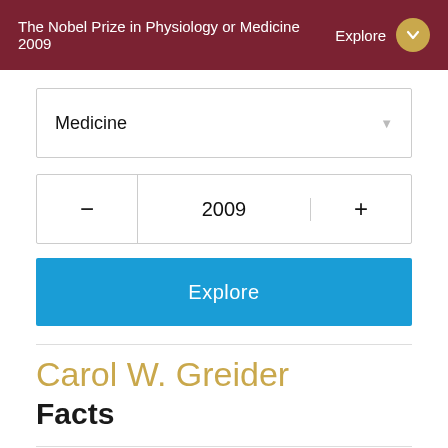The Nobel Prize in Physiology or Medicine 2009  Explore
Medicine
- 2009 +
Explore
Carol W. Greider
Facts